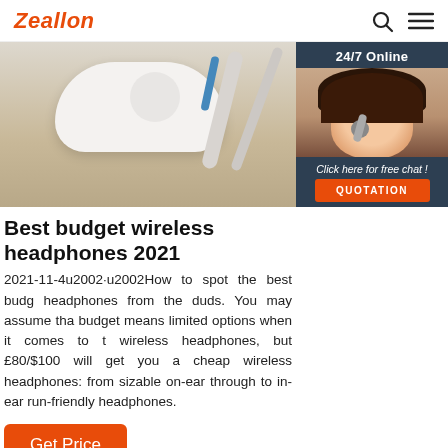Zeallon
[Figure (photo): Hero image showing white wireless headphones/earbuds on a wooden surface with cables, and a 24/7 Online customer support widget with agent photo on the right side]
Best budget wireless headphones 2021
2021-11-4u2002·u2002How to spot the best budget headphones from the duds. You may assume that budget means limited options when it comes to the wireless headphones, but £80/$100 will get you a cheap wireless headphones: from sizable on-ear through to in-ear run-friendly headphones.
Get Price